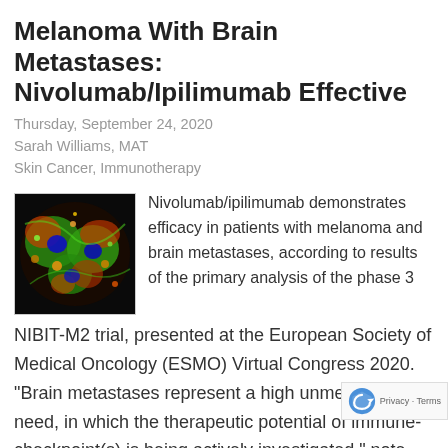Melanoma With Brain Metastases: Nivolumab/Ipilimumab Effective
Thursday, September 24, 2020
Sarah Williams, MAT
Skin Cancer, Immunotherapy
[Figure (photo): Fluorescence microscopy image of melanoma cells with colorful staining (red, green, blue, orange) against a dark background]
Nivolumab/ipilimumab demonstrates efficacy in patients with melanoma and brain metastases, according to results of the phase 3 NIBIT-M2 trial, presented at the European Society of Medical Oncology (ESMO) Virtual Congress 2020. "Brain metastases represent a high unmet medical need, in which the therapeutic potential of immune-checkpoint(s) is being actively investigated," note